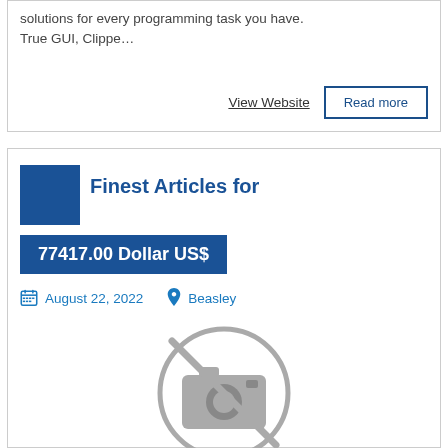solutions for every programming task you have. True GUI, Clippe…
View Website
Read more
Finest Articles for
77417.00 Dollar US$
August 22, 2022
Beasley
[Figure (illustration): No image placeholder icon — a camera icon with a diagonal slash through a circle]